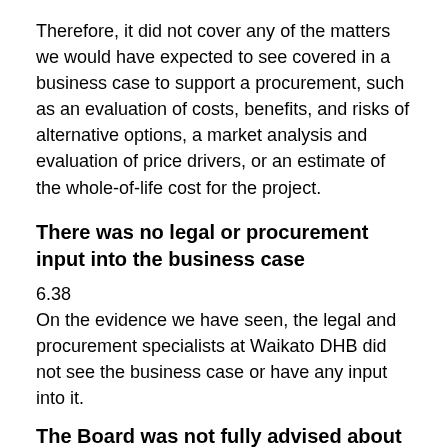Therefore, it did not cover any of the matters we would have expected to see covered in a business case to support a procurement, such as an evaluation of costs, benefits, and risks of alternative options, a market analysis and evaluation of price drivers, or an estimate of the whole-of-life cost for the project.
There was no legal or procurement input into the business case
6.38
On the evidence we have seen, the legal and procurement specialists at Waikato DHB did not see the business case or have any input into it.
The Board was not fully advised about the contractual and procurement concerns
6.39
There is also little discussion in the documents presented to the Board about the contractual and procurement issues